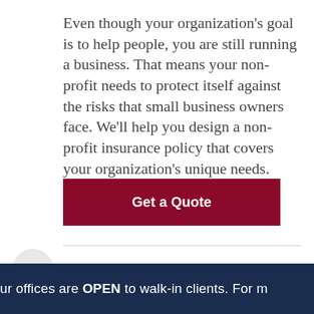Even though your organization's goal is to help people, you are still running a business. That means your non-profit needs to protect itself against the risks that small business owners face. We'll help you design a non-profit insurance policy that covers your organization's unique needs.
Get a Quote
ur offices are OPEN to walk-in clients. For m